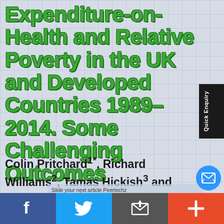Expenditure-on-Health and Relative Poverty in the UK and Developed Countries 1989–2014. Some Challenging Outcomes
Colin Pritchard1*, Richard Williams2, Tamas Hickish3 and Mark Wallace4
[Figure (screenshot): Quick Enquiry sidebar tab on the right edge of the page, dark background with white rotated text]
[Figure (screenshot): Bottom social share bar with Facebook (blue), Twitter (light blue), Email (dark grey), and More/Plus (red-orange) buttons showing respective icons]